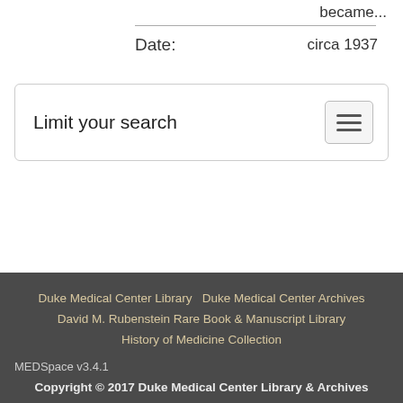became...
Date:    circa 1937
Limit your search
Duke Medical Center Library   Duke Medical Center Archives
David M. Rubenstein Rare Book & Manuscript Library
History of Medicine Collection

MEDSpace v3.4.1

Copyright © 2017 Duke Medical Center Library & Archives